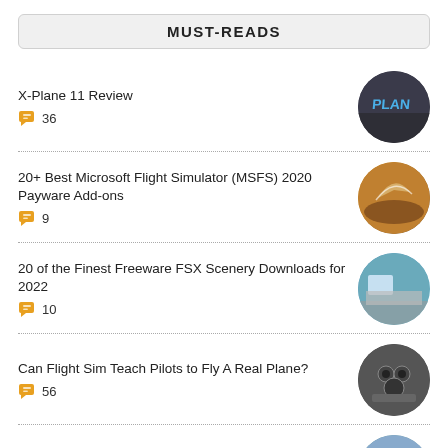MUST-READS
X-Plane 11 Review
20+ Best Microsoft Flight Simulator (MSFS) 2020 Payware Add-ons
20 of the Finest Freeware FSX Scenery Downloads for 2022
Can Flight Sim Teach Pilots to Fly A Real Plane?
AI Traffic for FSX: Freeware & Payware